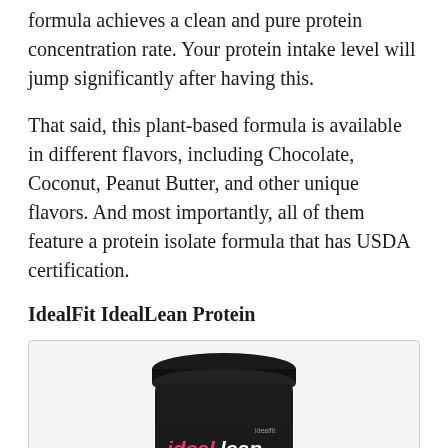formula achieves a clean and pure protein concentration rate. Your protein intake level will jump significantly after having this.
That said, this plant-based formula is available in different flavors, including Chocolate, Coconut, Peanut Butter, and other unique flavors. And most importantly, all of them feature a protein isolate formula that has USDA certification.
IdealFit IdealLean Protein
[Figure (photo): A black protein shake tub labeled 'ideal lean PROTEIN SHAKE FOR WOMEN' with flavor text 'Chocolate' at the bottom, showing '20 100 0' nutrition figures on the label.]